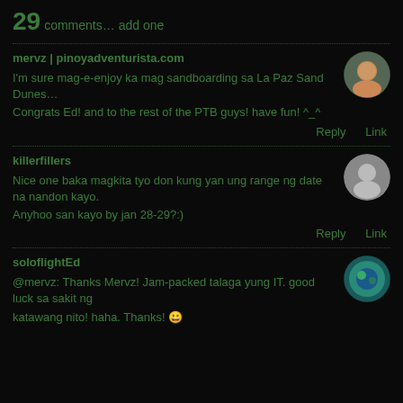29 comments… add one
mervz | pinoyadventurista.com
I'm sure mag-e-enjoy ka mag sandboarding sa La Paz Sand Dunes… Congrats Ed! and to the rest of the PTB guys! have fun! ^_^
Reply   Link
killerfillers
Nice one baka magkita tyo don kung yan ung range ng date na nandon kayo. Anyhoo san kayo by jan 28-29?:)
Reply   Link
soloflightEd
@mervz: Thanks Mervz! Jam-packed talaga yung IT. good luck sa sakit ng katawang nito! haha. Thanks! 😀